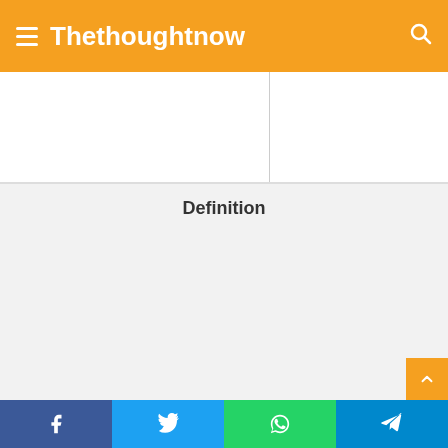Thethoughtnow
[Figure (other): Advertisement banner area split into two columns]
Definition
[Figure (other): Definition content area with light gray background]
Social share buttons: Facebook, Twitter, WhatsApp, Telegram